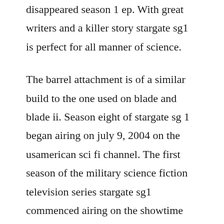disappeared season 1 ep. With great writers and a killer story stargate sg1 is perfect for all manner of science.
The barrel attachment is of a similar build to the one used on blade and blade ii. Season eight of stargate sg 1 began airing on july 9, 2004 on the usamerican sci fi channel. The first season of the military science fiction television series stargate sg1 commenced airing on the showtime channel in the united states on july 27, 1997, concluded on the sci fi channel on march 6, 1998, and contained 22 episodes. Season 1 ep. 7 - 16 both literally